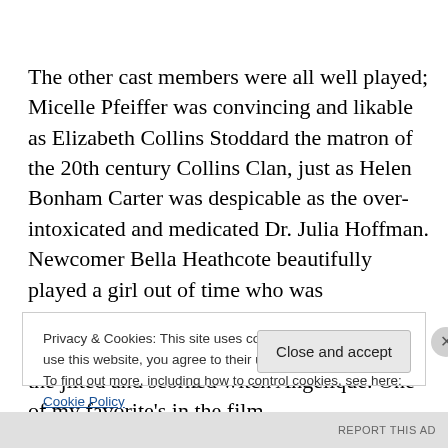The other cast members were all well played; Micelle Pfeiffer was convincing and likable as Elizabeth Collins Stoddard the matron of the 20th century Collins Clan, just as Helen Bonham Carter was despicable as the over-intoxicated and medicated Dr. Julia Hoffman. Newcomer Bella Heathcote beautifully played a girl out of time who was inexplicably drawn to the Collins family, and Eva Green captured the true wickedness of the jilted and scorned witch Angelique. One of my favorite's in the film
Privacy & Cookies: This site uses cookies. By continuing to use this website, you agree to their use.
To find out more, including how to control cookies, see here: Cookie Policy
Close and accept
REPORT THIS AD